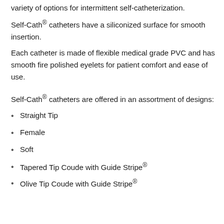variety of options for intermittent self-catheterization.
Self-Cath® catheters have a siliconized surface for smooth insertion.
Each catheter is made of flexible medical grade PVC and has smooth fire polished eyelets for patient comfort and ease of use.
Self-Cath® catheters are offered in an assortment of designs:
Straight Tip
Female
Soft
Tapered Tip Coude with Guide Stripe®
Olive Tip Coude with Guide Stripe®